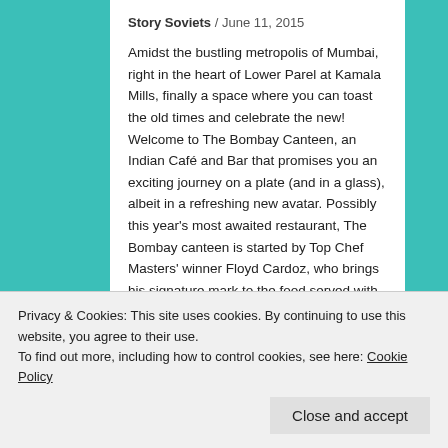Story Soviets / June 11, 2015
Amidst the bustling metropolis of Mumbai, right in the heart of Lower Parel at Kamala Mills, finally a space where you can toast the old times and celebrate the new! Welcome to The Bombay Canteen, an Indian Café and Bar that promises you an exciting journey on a plate (and in a glass), albeit in a refreshing new avatar. Possibly this year's most awaited restaurant, The Bombay canteen is started by Top Chef Masters' winner Floyd Cardoz, who brings his signature mark to the food served with retro Hindi film tunes that hum sweetly in a nostalgic, old Bombay-style fit-out.
[Figure (photo): Partial view of a food photo at the bottom of the article]
Privacy & Cookies: This site uses cookies. By continuing to use this website, you agree to their use.
To find out more, including how to control cookies, see here: Cookie Policy
Close and accept